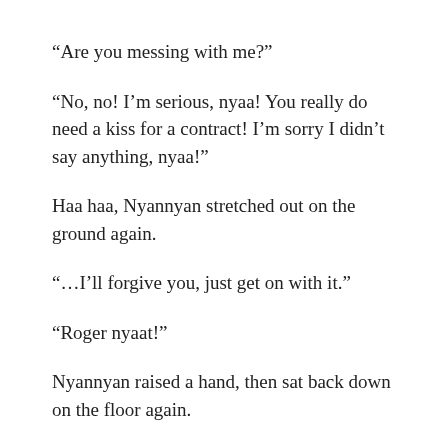“Are you messing with me?”
“No, no! I’m serious, nyaa! You really do need a kiss for a contract! I’m sorry I didn’t say anything, nyaa!”
Haa haa, Nyannyan stretched out on the ground again.
“…I’ll forgive you, just get on with it.”
“Roger nyaat!”
Nyannyan raised a hand, then sat back down on the floor again.